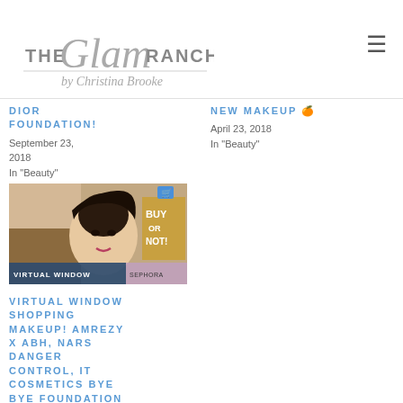THE Glam RANCH by Christina Brooke
DIOR FOUNDATION!
September 23, 2018
In "Beauty"
NEW MAKEUP 🧡
April 23, 2018
In "Beauty"
[Figure (photo): Thumbnail image for 'Virtual Window Shopping Makeup' video featuring a woman with dark hair, makeup products, and text 'BUY OR NOT' and 'VIRTUAL WINDOW' overlaid.]
VIRTUAL WINDOW SHOPPING MAKEUP! AMREZY X ABH, NARS DANGER CONTROL, IT COSMETICS BYE BYE FOUNDATION